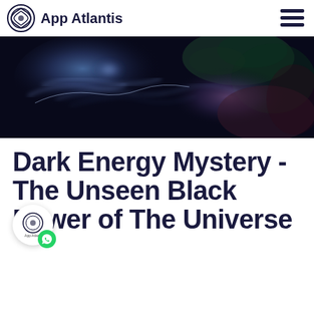App Atlantis
[Figure (photo): Abstract space/cosmic image showing dark blue and purple nebula-like swirls with glowing light blue and white energy streaks against a very dark background]
Dark Energy Mystery - The Unseen Black Power of The Universe